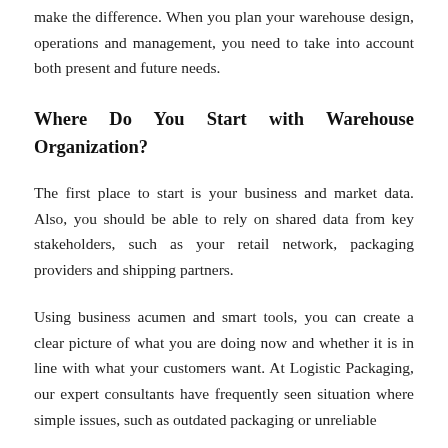make the difference. When you plan your warehouse design, operations and management, you need to take into account both present and future needs.
Where Do You Start with Warehouse Organization?
The first place to start is your business and market data. Also, you should be able to rely on shared data from key stakeholders, such as your retail network, packaging providers and shipping partners.
Using business acumen and smart tools, you can create a clear picture of what you are doing now and whether it is in line with what your customers want. At Logistic Packaging, our expert consultants have frequently seen situation where simple issues, such as outdated packaging or unreliable